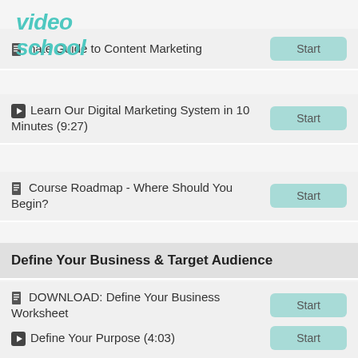[Figure (logo): Video School logo in teal/cyan italic bold text]
The Ultimate Guide to Content Marketing — Start
▶ Learn Our Digital Marketing System in 10 Minutes (9:27) — Start
📄 Course Roadmap - Where Should You Begin? — Start
Define Your Business & Target Audience
📄 DOWNLOAD: Define Your Business Worksheet — Start
▶ Define Your Purpose (4:03) — Start
▶ CASE STUDY: 3 Brand's Purpose (5:25) — Start